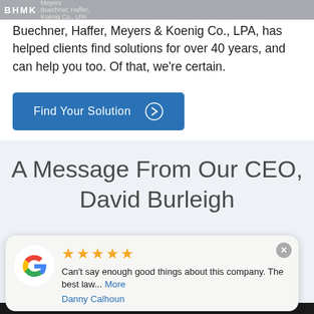BHMK Meyers Buechner, Haffer, Meyers & Koenig Co., LPA
Buechner, Haffer, Meyers & Koenig Co., LPA, has helped clients find solutions for over 40 years, and can help you too. Of that, we're certain.
Find Your Solution
A Message From Our CEO, David Burleigh
Can't say enough good things about this company. The best law... More
Danny Calhoun